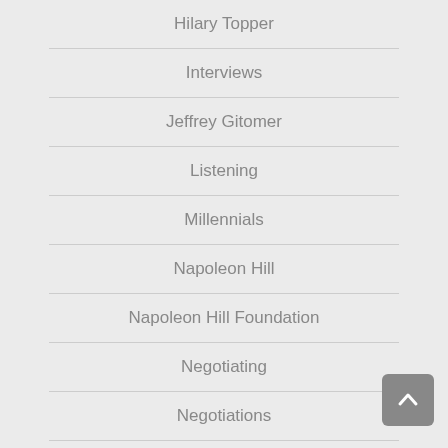Hilary Topper
Interviews
Jeffrey Gitomer
Listening
Millennials
Napoleon Hill
Napoleon Hill Foundation
Negotiating
Negotiations
Non-profits
NY Jets
Podcasts